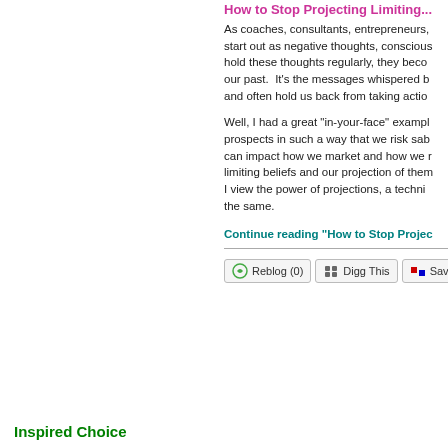How to Stop Projecting Limiting...
As coaches, consultants, entrepreneurs, start out as negative thoughts, conscious hold these thoughts regularly, they beco our past.  It's the messages whispered b and often hold us back from taking actio
Well, I had a great "in-your-face" exampl prospects in such a way that we risk sab can impact how we market and how we r limiting beliefs and our projection of the I view the power of projections, a techni the same.
Continue reading "How to Stop Projec
Reblog (0)   Digg This   Save to de
Inspired Choice